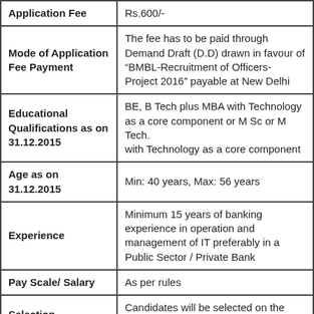| Field | Details |
| --- | --- |
| Application Fee | Rs.600/- |
| Mode of Application Fee Payment | The fee has to be paid through Demand Draft (D.D) drawn in favour of “BMBL-Recruitment of Officers- Project 2016” payable at New Delhi |
| Educational Qualifications as on 31.12.2015 | BE, B Tech plus MBA with Technology as a core component or M Sc or M Tech.
with Technology as a core component |
| Age as on 31.12.2015 | Min: 40 years, Max: 56 years |
| Experience | Minimum 15 years of banking experience in operation and management of IT preferably in a Public Sector / Private Bank |
| Pay Scale/ Salary | As per rules |
| Selection Procedure | Candidates will be selected on the basis of performance in Interview.  Candidates will be |